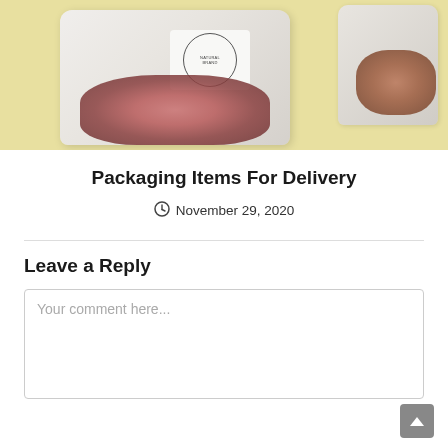[Figure (photo): Photo of white packaging bags containing dried rose buds/tea on a yellow background. Two bags visible: a main larger bag in the center with a circular Natural Brand label and pink rosebuds visible, and a second bag partially visible on the right with brown seeds/buds.]
Packaging Items For Delivery
November 29, 2020
Leave a Reply
Your comment here...